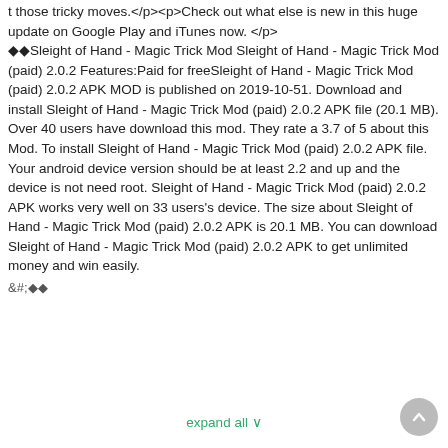t those tricky moves.</p><p>Check out what else is new in this huge update on Google Play and iTunes now. </p>
  Sleight of Hand - Magic Trick Mod Sleight of Hand - Magic Trick Mod (paid) 2.0.2 Features:Paid for freeSleight of Hand - Magic Trick Mod (paid) 2.0.2 APK MOD is published on 2019-10-51. Download and install Sleight of Hand - Magic Trick Mod (paid) 2.0.2 APK file (20.1 MB). Over 40 users have download this mod. They rate a 3.7 of 5 about this Mod. To install Sleight of Hand - Magic Trick Mod (paid) 2.0.2 APK file. Your android device version should be at least 2.2 and up and the device is not need root. Sleight of Hand - Magic Trick Mod (paid) 2.0.2 APK works very well on 33 users's device. The size about Sleight of Hand - Magic Trick Mod (paid) 2.0.2 APK is 20.1 MB. You can download Sleight of Hand - Magic Trick Mod (paid) 2.0.2 APK to get unlimited money and win easily.
&#;&#;
expand all ∨